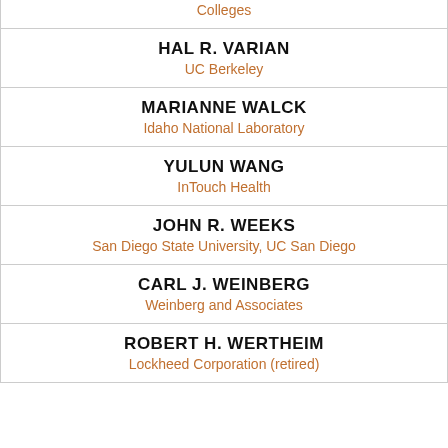| Colleges |
| HAL R. VARIAN | UC Berkeley |
| MARIANNE WALCK | Idaho National Laboratory |
| YULUN WANG | InTouch Health |
| JOHN R. WEEKS | San Diego State University, UC San Diego |
| CARL J. WEINBERG | Weinberg and Associates |
| ROBERT H. WERTHEIM | Lockheed Corporation (retired) |